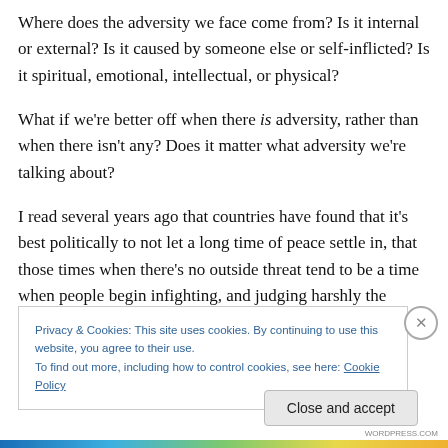Where does the adversity we face come from? Is it internal or external? Is it caused by someone else or self-inflicted? Is it spiritual, emotional, intellectual, or physical?
What if we're better off when there is adversity, rather than when there isn't any? Does it matter what adversity we're talking about?
I read several years ago that countries have found that it's best politically to not let a long time of peace settle in, that those times when there's no outside threat tend to be a time when people begin infighting, and judging harshly the
Privacy & Cookies: This site uses cookies. By continuing to use this website, you agree to their use.
To find out more, including how to control cookies, see here: Cookie Policy
Close and accept